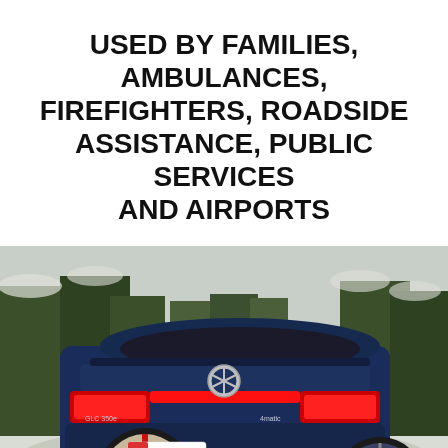USED BY FAMILIES, AMBULANCES, FIREFIGHTERS, ROADSIDE ASSISTANCE, PUBLIC SERVICES AND AIRPORTS
[Figure (screenshot): Video screenshot showing the rear view of a blue Mercedes-Benz GLC SUV driving on a snowy road with trees in the background. The rear tires have a red cross pattern on them (AutoSock traction aids). An AutoSock logo badge is visible on the rear bumper. Video player controls are shown at the bottom with 0:00 timestamp.]